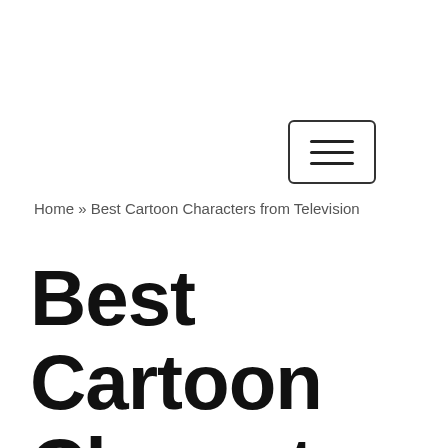☰ (navigation menu button)
Home » Best Cartoon Characters from Television
Best Cartoon Characters from Television